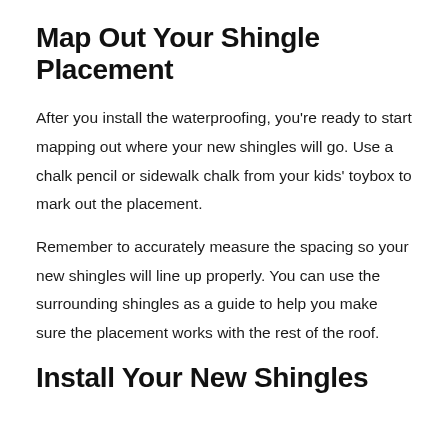Map Out Your Shingle Placement
After you install the waterproofing, you're ready to start mapping out where your new shingles will go. Use a chalk pencil or sidewalk chalk from your kids' toybox to mark out the placement.
Remember to accurately measure the spacing so your new shingles will line up properly. You can use the surrounding shingles as a guide to help you make sure the placement works with the rest of the roof.
Install Your New Shingles